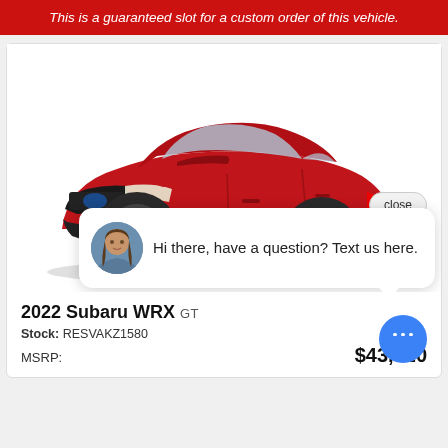This is a guaranteed slot for a custom order of this vehicle.
[Figure (photo): Red 2022 Subaru WRX GT sedan, three-quarter front view on white background]
close
Hi there, have a question? Text us here.
2022 Subaru WRX GT
Stock: RESVAKZ1580
MSRP: $43,520